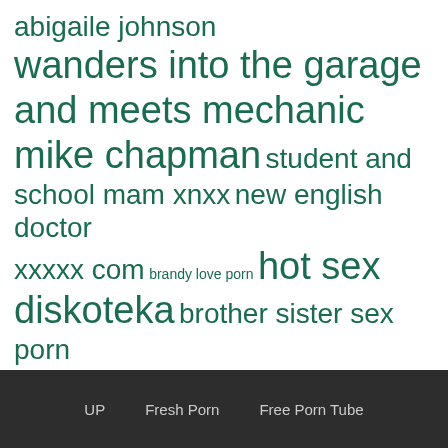[Figure (infographic): Tag cloud with search terms in dark teal/green color on white background, varying font sizes indicating relative frequency or importance.]
UP   Fresh Porn   Free Porn Tube